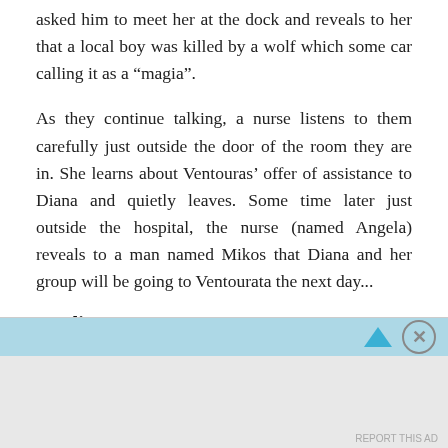asked him to meet her at the dock and reveals to her that a local boy was killed by a wolf which some car calling it as a “magia”.
As they continue talking, a nurse listens to them carefully just outside the door of the room they are in. She learns about Ventouras’ offer of assistance to Diana and quietly leaves. Some time later just outside the hospital, the nurse (named Angela) reveals to a man named Mikos that Diana and her group will be going to Ventourata the next day...
Quality
Advertisements